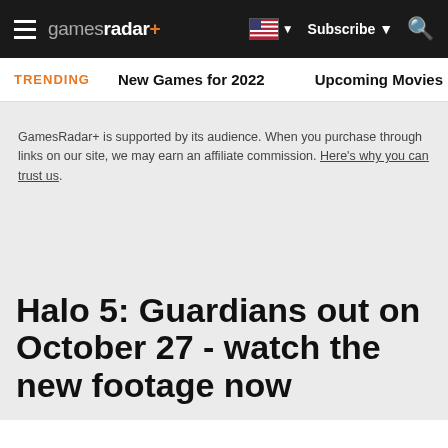gamesradar+
TRENDING   New Games for 2022   Upcoming Movies
GamesRadar+ is supported by its audience. When you purchase through links on our site, we may earn an affiliate commission. Here's why you can trust us.
Halo 5: Guardians out on October 27 - watch the new footage now